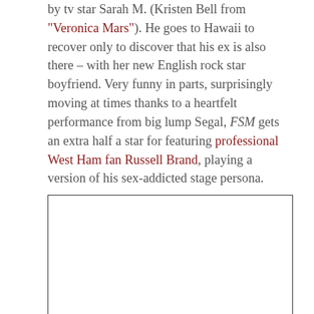by tv star Sarah M. (Kristen Bell from "Veronica Mars"). He goes to Hawaii to recover only to discover that his ex is also there – with her new English rock star boyfriend. Very funny in parts, surprisingly moving at times thanks to a heartfelt performance from big lump Segal, FSM gets an extra half a star for featuring professional West Ham fan Russell Brand, playing a version of his sex-addicted stage persona.
[Figure (other): Empty white box with black border, placeholder image area]